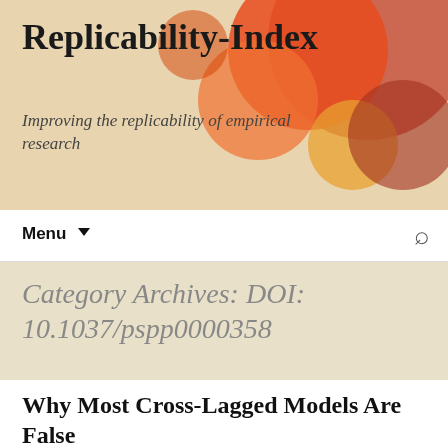Replicability-Index
Improving the replicability of empirical research
Category Archives: DOI: 10.1037/pspp0000358
Why Most Cross-Lagged Models Are False
August 22, 2020  Cross-Lagged Panel Model, Depression, DOI: 10.1037/pspp0000358, Longitudinal Data, Panel Data, Self-Esteem, Spurious Correlations